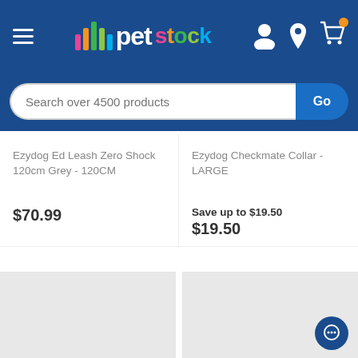[Figure (screenshot): PetStock website header with logo, hamburger menu, user icon, location icon, and cart icon with orange notification badge]
Search over 4500 products
Ezydog Ed Leash Zero Shock 120cm Grey - 120CM
$70.99
Ezydog Checkmate Collar - LARGE
Save up to $19.50
$19.50
[Figure (photo): Product image placeholder (grey box) for first product]
[Figure (photo): Product image placeholder (grey box) for second product]